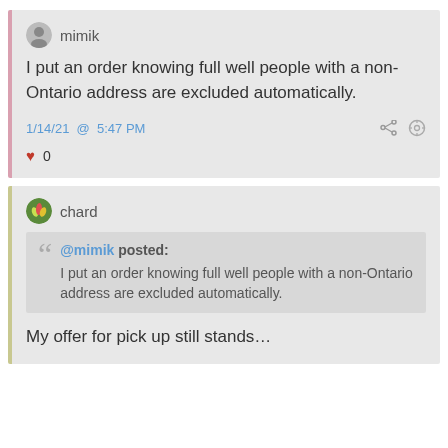mimik
I put an order knowing full well people with a non-Ontario address are excluded automatically.
1/14/21 @ 5:47 PM
♥ 0
chard
@mimik posted:
I put an order knowing full well people with a non-Ontario address are excluded automatically.
My offer for pick up still stands...